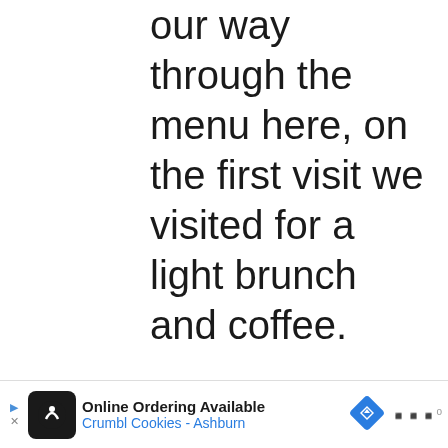our way through the menu here, on the first visit we visited for a light brunch and coffee.
Read more
Eat & Drink  Bars, Coffee, EastLiberty, Restaurants  Leave a
[Figure (screenshot): Online Ordering Available - Crumbl Cookies - Ashburn advertisement bar at the bottom of the page]